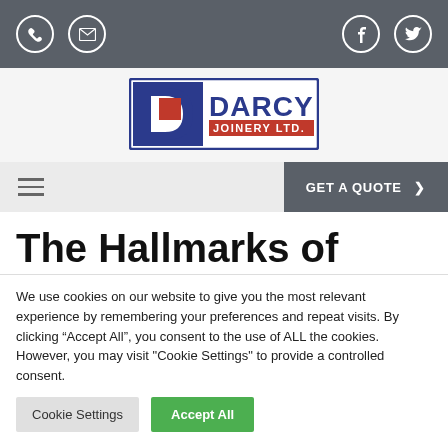Darcy Joinery Ltd. website header with phone, email, Facebook, Twitter icons and logo
[Figure (logo): Darcy Joinery Ltd. logo — blue D shape with red square and text DARCY JOINERY LTD. in blue and red]
GET A QUOTE >
The Hallmarks of
We use cookies on our website to give you the most relevant experience by remembering your preferences and repeat visits. By clicking "Accept All", you consent to the use of ALL the cookies. However, you may visit "Cookie Settings" to provide a controlled consent.
Cookie Settings   Accept All